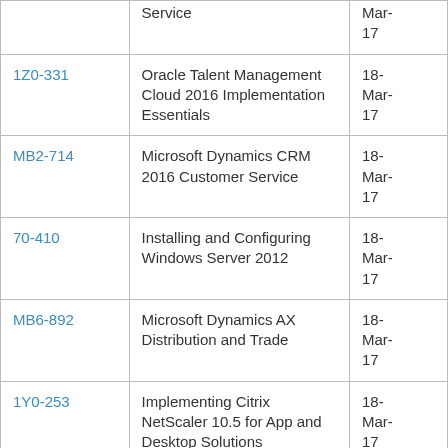| Code | Description | Date |
| --- | --- | --- |
|  | Service | Mar-17 |
| 1Z0-331 | Oracle Talent Management Cloud 2016 Implementation Essentials | 18-Mar-17 |
| MB2-714 | Microsoft Dynamics CRM 2016 Customer Service | 18-Mar-17 |
| 70-410 | Installing and Configuring Windows Server 2012 | 18-Mar-17 |
| MB6-892 | Microsoft Dynamics AX Distribution and Trade | 18-Mar-17 |
| 1Y0-253 | Implementing Citrix NetScaler 10.5 for App and Desktop Solutions | 18-Mar-17 |